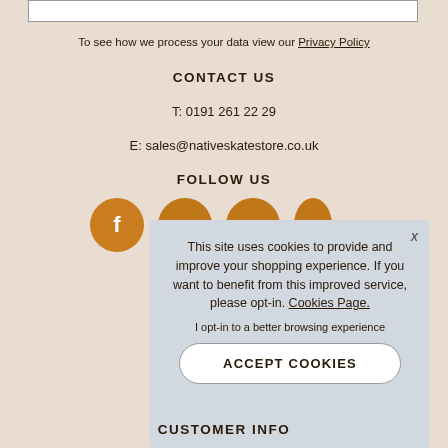To see how we process your data view our Privacy Policy
CONTACT US
T: 0191 261 22 29
E: sales@nativeskatestore.co.uk
FOLLOW US
[Figure (illustration): Four orange circular social media icons (Facebook and others), partially visible]
This site uses cookies to provide and improve your shopping experience. If you want to benefit from this improved service, please opt-in. Cookies Page.

I opt-in to a better browsing experience
ACCEPT COOKIES
CUSTOMER INFO